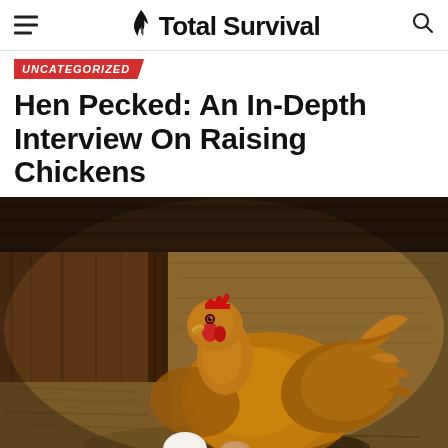Total Survival
UNCATEGORIZED
Hen Pecked: An In-Depth Interview On Raising Chickens
[Figure (photo): A golden-brown hen sitting in a wooden nesting box on hay, with two eggs (one white, one brown) in front of it. Dark wood-grain background visible above.]